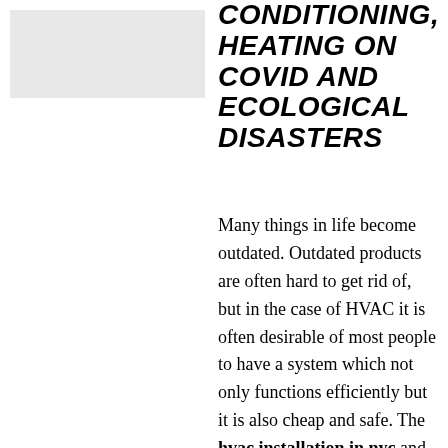[Figure (photo): Gray placeholder image in upper left area]
CONDITIONING, HEATING ON COVID AND ECOLOGICAL DISASTERS
Many things in life become outdated. Outdated products are often hard to get rid of, but in the case of HVAC it is often desirable of most people to have a system which not only functions efficiently but it is also cheap and safe. The hvac installation in nyc and the greater metropolis area (cities which included